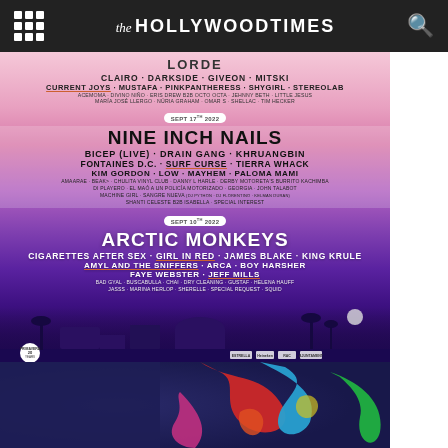The Hollywood Times
[Figure (photo): Primavera Sound 2022 festival lineup poster with gradient pink-to-purple background showing three days of acts. Day 1: LORDE headlining, with Clairo, Darkside, Giveon, Mitski, Current Joys, Mustafa, PinkPantheress, Shygirl, Stereolab, and others. Day 2 (Sept 17, 2022): Nine Inch Nails headlining, with Bicep (Live), Drain Gang, Khruangbin, Fontaines D.C., Surf Curse, Tierra Whack, Kim Gordon, Low, Mayhem, Paloma Mami, and others. Day 3 (Sept 10, 2022): Arctic Monkeys headlining, with Cigarettes After Sex, Girl in Red, James Blake, King Krule, Amyl and the Sniffers, Arca, Boy Harsher, Faye Webster, Jeff Mills, and others. Bottom shows venue silhouette with palm trees. Primavera Sound 20 Years logo shown.]
[Figure (photo): Bottom partial image showing colorful abstract swirls of red, blue, green, and pink on dark background - partial view of another festival-related graphic]